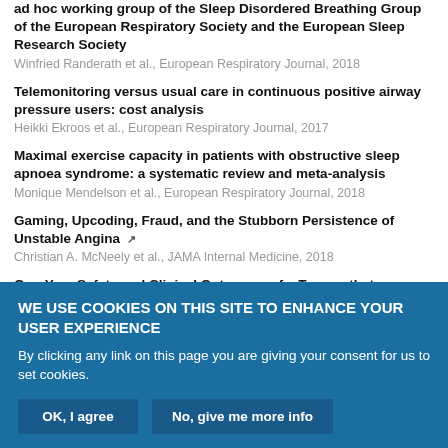ad hoc working group of the Sleep Disordered Breathing Group of the European Respiratory Society and the European Sleep Research Society
Winfried Randerath et al., European Respiratory Journal, 2018
Telemonitoring versus usual care in continuous positive airway pressure users: cost analysis
Heikki Ekroos et al., European Respiratory Journal, 2017
Maximal exercise capacity in patients with obstructive sleep apnoea syndrome: a systematic review and meta-analysis
Monique Mendelson et al., European Respiratory Journal, 2018
Gaming, Upcoding, Fraud, and the Stubborn Persistence of Unstable Angina
Christian A. McNeely et al., JAMA Internal Medicine, 2018
One-Year Safety and Clinical Outcomes of a Transcatheter Interatrial
WE USE COOKIES ON THIS SITE TO ENHANCE YOUR USER EXPERIENCE
By clicking any link on this page you are giving your consent for us to set cookies.